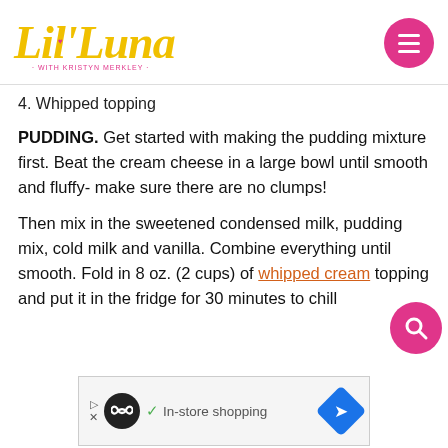Lil' Luna - with Kristyn Merkley
4. Whipped topping
PUDDING. Get started with making the pudding mixture first. Beat the cream cheese in a large bowl until smooth and fluffy- make sure there are no clumps!
Then mix in the sweetened condensed milk, pudding mix, cold milk and vanilla. Combine everything until smooth. Fold in 8 oz. (2 cups) of whipped cream topping and put it in the fridge for 30 minutes to chill
[Figure (screenshot): Advertisement banner showing loop/infinity icon, checkmark and 'In-store shopping' text, and blue navigation arrow icon]